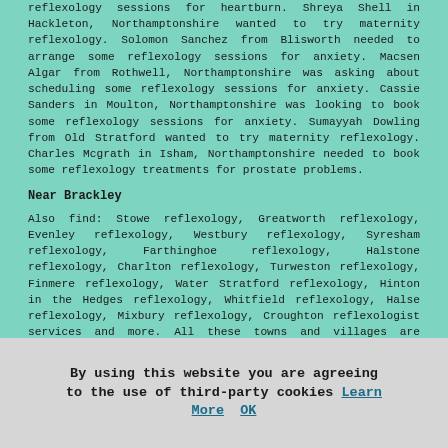reflexology sessions for heartburn. Shreya Shell in Hackleton, Northamptonshire wanted to try maternity reflexology. Solomon Sanchez from Blisworth needed to arrange some reflexology sessions for anxiety. Macsen Algar from Rothwell, Northamptonshire was asking about scheduling some reflexology sessions for anxiety. Cassie Sanders in Moulton, Northamptonshire was looking to book some reflexology sessions for anxiety. Sumayyah Dowling from Old Stratford wanted to try maternity reflexology. Charles Mcgrath in Isham, Northamptonshire needed to book some reflexology treatments for prostate problems.
Near Brackley
Also find: Stowe reflexology, Greatworth reflexology, Evenley reflexology, Westbury reflexology, Syresham reflexology, Farthinghoe reflexology, Halstone reflexology, Charlton reflexology, Turweston reflexology, Finmere reflexology, Water Stratford reflexology, Hinton in the Hedges reflexology, Whitfield reflexology, Halse reflexology, Mixbury reflexology, Croughton reflexologist services and more. All these towns and villages are serviced by those who do reflexology. Brackley residents can get reflexology quotations by clicking here.
By using this website you are agreeing to the use of third-party cookies Learn More OK